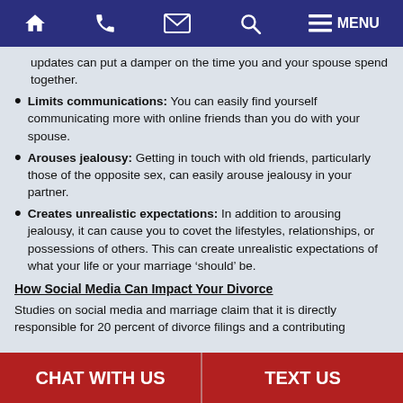Navigation bar with home, phone, email, search, and MENU icons
updates can put a damper on the time you and your spouse spend together.
Limits communications: You can easily find yourself communicating more with online friends than you do with your spouse.
Arouses jealousy: Getting in touch with old friends, particularly those of the opposite sex, can easily arouse jealousy in your partner.
Creates unrealistic expectations: In addition to arousing jealousy, it can cause you to covet the lifestyles, relationships, or possessions of others. This can create unrealistic expectations of what your life or your marriage ‘should’ be.
How Social Media Can Impact Your Divorce
Studies on social media and marriage claim that it is directly responsible for 20 percent of divorce filings and a contributing
CHAT WITH US | TEXT US